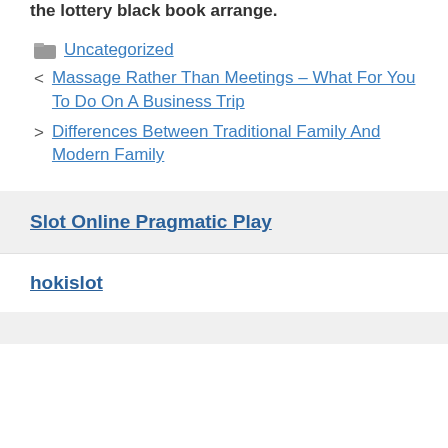the lottery black book arrange.
Uncategorized
Massage Rather Than Meetings – What For You To Do On A Business Trip
Differences Between Traditional Family And Modern Family
Slot Online Pragmatic Play
hokislot